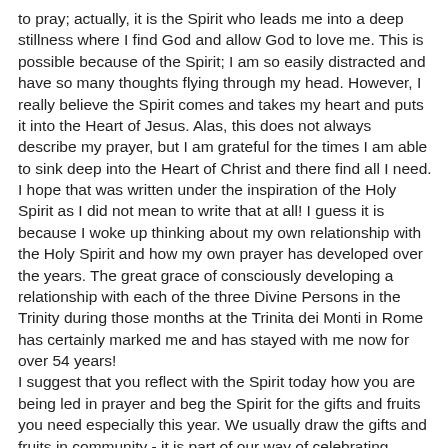to pray; actually, it is the Spirit who leads me into a deep stillness where I find God and allow God to love me. This is possible because of the Spirit; I am so easily distracted and have so many thoughts flying through my head. However, I really believe the Spirit comes and takes my heart and puts it into the Heart of Jesus. Alas, this does not always describe my prayer, but I am grateful for the times I am able to sink deep into the Heart of Christ and there find all I need. I hope that was written under the inspiration of the Holy Spirit as I did not mean to write that at all! I guess it is because I woke up thinking about my own relationship with the Holy Spirit and how my own prayer has developed over the years. The great grace of consciously developing a relationship with each of the three Divine Persons in the Trinity during those months at the Trinita dei Monti in Rome has certainly marked me and has stayed with me now for over 54 years! I suggest that you reflect with the Spirit today how you are being led in prayer and beg the Spirit for the gifts and fruits you need especially this year. We usually draw the gifts and fruits in community - it is part of our way of celebrating Pentecost.